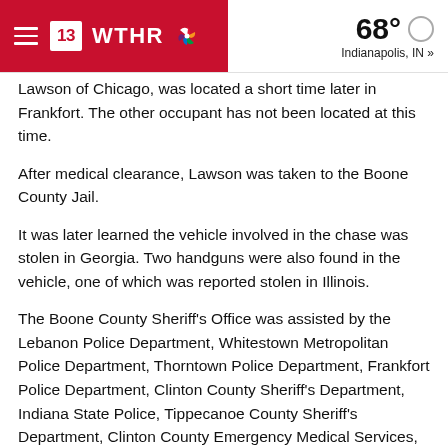13 WTHR — 68° Indianapolis, IN »
Lawson of Chicago, was located a short time later in Frankfort. The other occupant has not been located at this time.
After medical clearance, Lawson was taken to the Boone County Jail.
It was later learned the vehicle involved in the chase was stolen in Georgia. Two handguns were also found in the vehicle, one of which was reported stolen in Illinois.
The Boone County Sheriff's Office was assisted by the Lebanon Police Department, Whitestown Metropolitan Police Department, Thorntown Police Department, Frankfort Police Department, Clinton County Sheriff's Department, Indiana State Police, Tippecanoe County Sheriff's Department, Clinton County Emergency Medical Services, Perry Township (Clinton County) Fire Department and Mulberry (Clinton County) Fire Department.